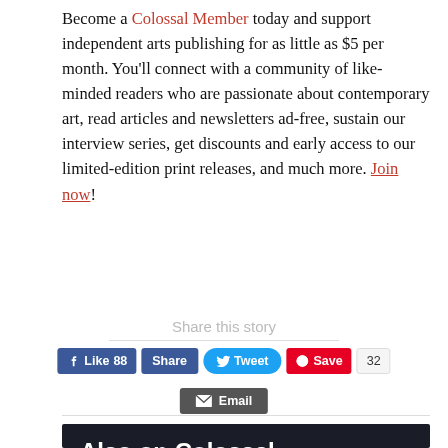Become a Colossal Member today and support independent arts publishing for as little as $5 per month. You'll connect with a community of like-minded readers who are passionate about contemporary art, read articles and newsletters ad-free, sustain our interview series, get discounts and early access to our limited-edition print releases, and much more. Join now!
Share this story
[Figure (screenshot): Social sharing buttons: Facebook Like (88), Share, Tweet, Pinterest Save (32), Email]
Also on Colossal